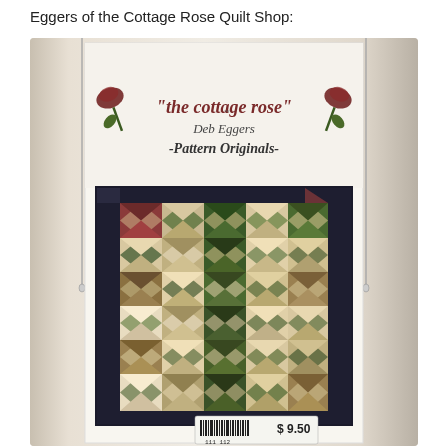Eggers of the Cottage Rose Quilt Shop:
[Figure (photo): A photograph of a quilt pattern packet in a clear plastic sleeve. The packet shows 'the cottage rose' branding with 'Deb Eggers -Pattern Originals-' text and rose illustrations at the top. Below is a photo of a quilt with pinwheel/star blocks arranged in a grid, using dark navy border fabric with floral print and cream/green/burgundy/tan patchwork blocks in the center. A price sticker at the bottom reads $9.50 with a barcode.]